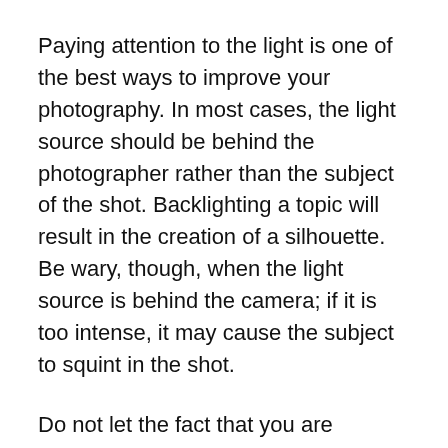Paying attention to the light is one of the best ways to improve your photography. In most cases, the light source should be behind the photographer rather than the subject of the shot. Backlighting a topic will result in the creation of a silhouette. Be wary, though, when the light source is behind the camera; if it is too intense, it may cause the subject to squint in the shot.
Do not let the fact that you are adjusting your settings force you to miss a shot. Nevertheless, you shouldn't utilise the default settings on your camera at any point. It is best to make manual adjustments to your camera settings rather than relying on the camera's default settings, as they